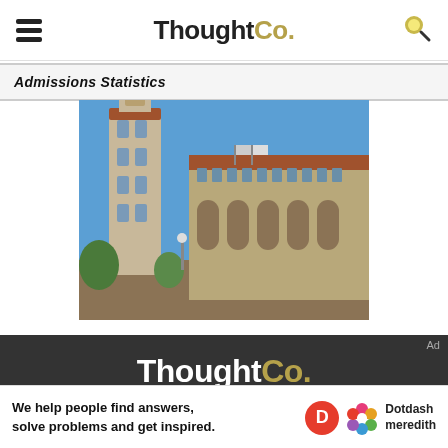ThoughtCo.
Admissions Statistics
[Figure (photo): Stanford University campus building with Hoover Tower and arched arcade building under blue sky]
ThoughtCo. | We help people find answers, solve problems and get inspired. | Dotdash meredith